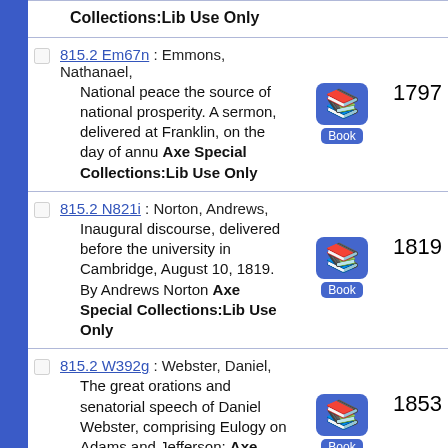Collections:Lib Use Only (partial, top of page)
815.2 Em67n : Emmons, Nathanael, National peace the source of national prosperity. A sermon, delivered at Franklin, on the day of annu Axe Special Collections:Lib Use Only 1797 Book
815.2 N821i : Norton, Andrews, Inaugural discourse, delivered before the university in Cambridge, August 10, 1819. By Andrews Norton Axe Special Collections:Lib Use Only 1819 Book
815.2 W392g : Webster, Daniel, The great orations and senatorial speech of Daniel Webster, comprising Eulogy on Adams and Jefferson; Axe Special Collections:Lib Use Only 1853 Book
815.2 W392o : Webster, Daniel,